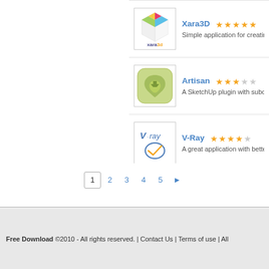[Figure (screenshot): Xara3D application logo - white cube with colored faces and 'xara3d' text below]
Xara3D ★★★★★ Simple application for creating
[Figure (logo): Artisan SketchUp plugin logo - green rounded square with stylized figure]
Artisan ★★★☆☆ A SketchUp plugin with subdiv
[Figure (logo): V-Ray logo - blue V·ray text with orange/blue circular checkmark icon]
V-Ray ★★★★☆ A great application with better
1 2 3 4 5 ▶
Free Download ©2010 - All rights reserved. | Contact Us | Terms of use | All